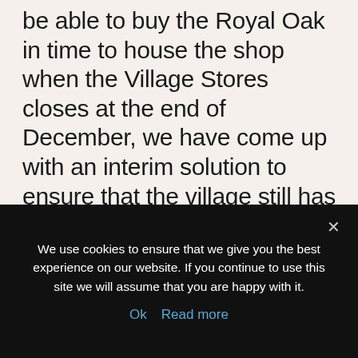be able to buy the Royal Oak in time to house the shop when the Village Stores closes at the end of December, we have come up with an interim solution to ensure that the village still has a shop while we pursue our goal of buying the Oak. Plunkett Foundation kindly referred us to the village of Broughton in Hampshire, who have been successfully running a shop out of a container for 18 months, but are about to move into their new building. They have agreed to let us take over their temporary Shop in a Box
We use cookies to ensure that we give you the best experience on our website. If you continue to use this site we will assume that you are happy with it.
Ok   Read more